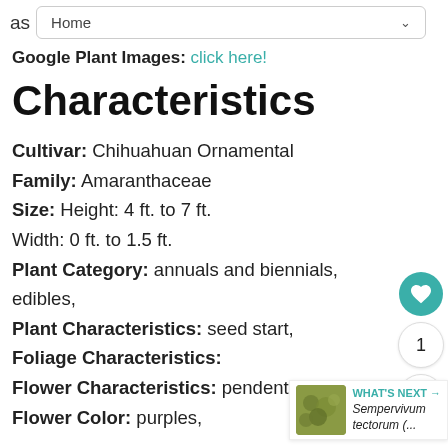as  Home
Google Plant Images: click here!
Characteristics
Cultivar: Chihuahuan Ornamental
Family: Amaranthaceae
Size: Height: 4 ft. to 7 ft.
Width: 0 ft. to 1.5 ft.
Plant Category: annuals and biennials, edibles,
Plant Characteristics: seed start,
Foliage Characteristics:
Flower Characteristics: pendent,
Flower Color: purples,
[Figure (other): Heart/favorite button (teal circle with white heart icon), count 1, share button]
[Figure (photo): What's Next thumbnail: Sempervivum tectorum with green mossy plant image]